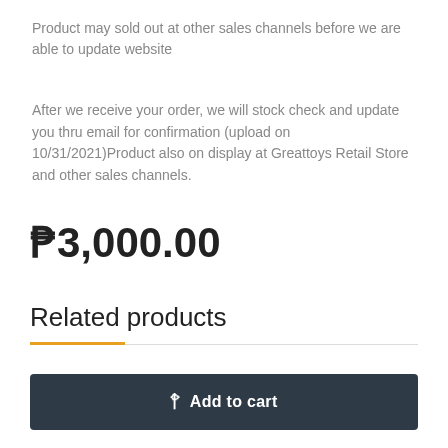Product may sold out at other sales channels before we are able to update website
After we receive your order, we will stock check and update you thru email for confirmation (upload on 10/31/2021)Product also on display at Greattoys Retail Store and other sales channels.
₱3,000.00
Related products
Add to cart